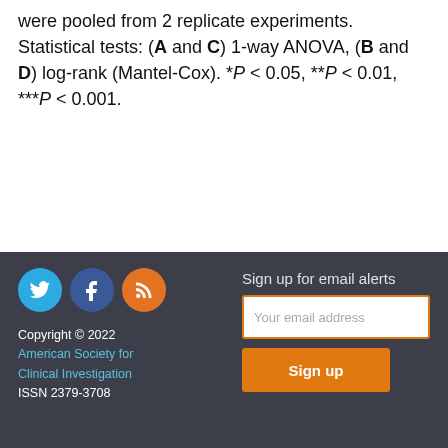were pooled from 2 replicate experiments. Statistical tests: (A and C) 1-way ANOVA, (B and D) log-rank (Mantel-Cox). *P < 0.05, **P < 0.01, ***P < 0.001.
Copyright © 2022 American Society for Clinical Investigation ISSN 2379-3708 | Sign up for email alerts | Your email address | Sign up